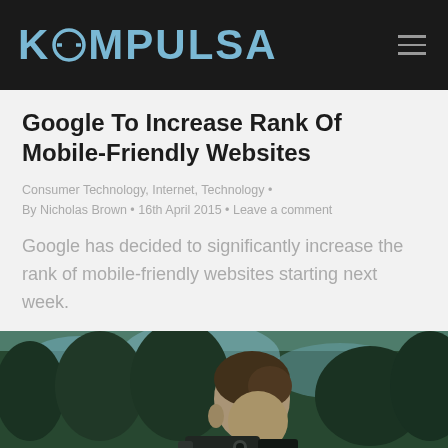KOMPULSA
Google To Increase Rank Of Mobile-Friendly Websites
Consumer Technology, Internet, Technology • By Nicholas Brown • 16th April 2015 • Leave a comment
Google has decided to significantly increase the rank of mobile-friendly websites starting next week.
[Figure (photo): Person looking through a camera/scope outdoors with trees in background]